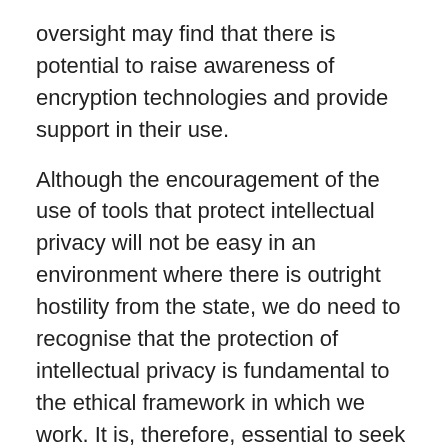oversight may find that there is potential to raise awareness of encryption technologies and provide support in their use.
Although the encouragement of the use of tools that protect intellectual privacy will not be easy in an environment where there is outright hostility from the state, we do need to recognise that the protection of intellectual privacy is fundamental to the ethical framework in which we work. It is, therefore, essential to seek and identify ways in which we can hold true to our commitment to ensure the intellectual privacy of our users. There are steps that we can take now to ensure this, and there are others that will need us as a profession to come together to find ways to make happen. What we can surely all agree on, is that individuals must be free to